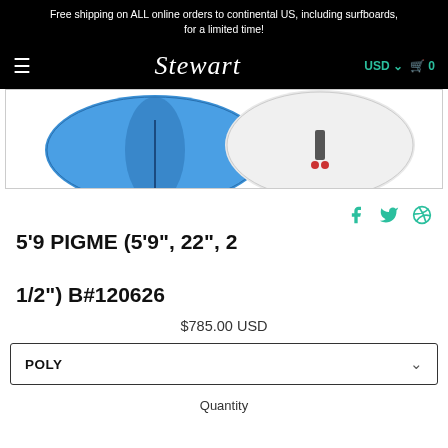Free shipping on ALL online orders to continental US, including surfboards, for a limited time!
[Figure (logo): Stewart surfboards logo and navigation bar with hamburger menu, USD currency selector, and shopping cart icon]
[Figure (photo): Two surfboards viewed from above - one blue on the left and one white/grey on the right, partially cropped]
5'9 PIGME (5'9", 22", 2 1/2") B#120626
$785.00 USD
POLY
Quantity